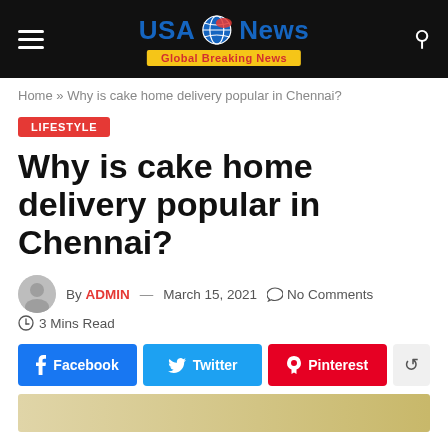USA News – Global Breaking News
Home » Why is cake home delivery popular in Chennai?
LIFESTYLE
Why is cake home delivery popular in Chennai?
By ADMIN — March 15, 2021  No Comments  3 Mins Read
Facebook  Twitter  Pinterest